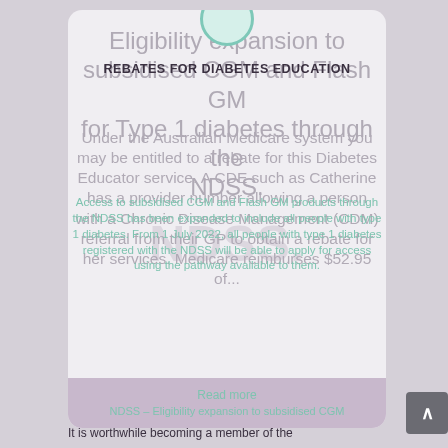Eligibility expansion to subsidised CGM and Flash GM for Type 1 diabetes through the NDSS.
REBATES FOR DIABETES EDUCATION
Access to subsidised CGM and Flash GM products through the NDSS has been expanded to include all people with type 1 diabetes. From 1 July 2022, all people with type 1 diabetes registered with the NDSS will be able to apply for access using the pathway available to them.
Under the Australian Medicare system you may be entitled to a rebate for this Diabetes Educator service. A CDE such as Catherine has a provider number allowing a person with a Chronic Disease Management (CDM) referral from their GP to obtain a rebate for her services. Medicare reimburses $52.95 of...
Read more
NDSS – Eligibility expansion to subsidised CGM
Facebook Live Q&A – CGM Subsidy Expansion
NDSS
It is worthwhile becoming a member of the